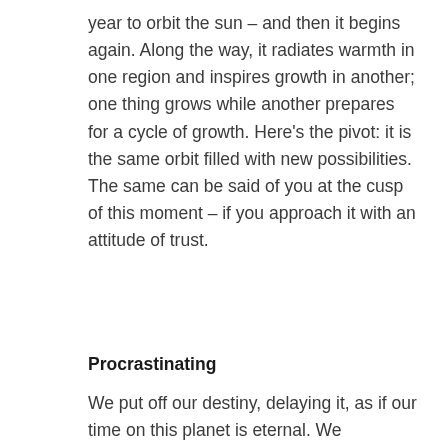year to orbit the sun – and then it begins again. Along the way, it radiates warmth in one region and inspires growth in another; one thing grows while another prepares for a cycle of growth. Here's the pivot: it is the same orbit filled with new possibilities. The same can be said of you at the cusp of this moment – if you approach it with an attitude of trust.
Procrastinating
We put off our destiny, delaying it, as if our time on this planet is eternal. We